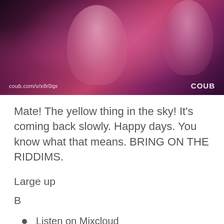[Figure (photo): People dancing at a concert/club under pink/purple lighting, with coub.com/v/x8r0qx watermark on left and COUB logo on right]
Mate! The yellow thing in the sky! It's coming back slowly. Happy days. You know what that means. BRING ON THE RIDDIMS.
Large up
B
Listen on Mixcloud